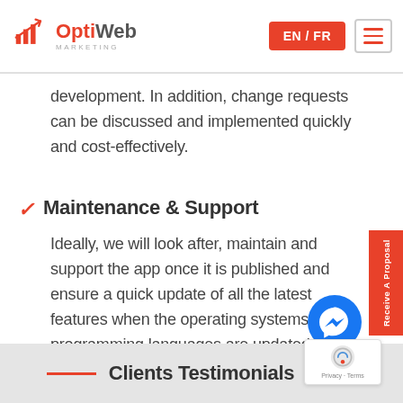OptiWeb Marketing | EN / FR | Menu
development. In addition, change requests can be discussed and implemented quickly and cost-effectively.
Maintenance & Support
Ideally, we will look after, maintain and support the app once it is published and ensure a quick update of all the latest features when the operating systems and programming languages are updated.
Clients Testimonials